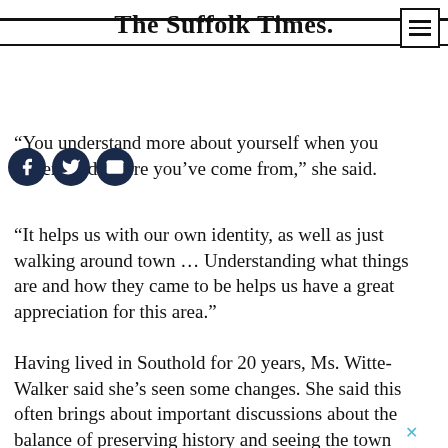The Suffolk Times.
“You understand more about yourself when you understand where you’ve come from,” she said.
“It helps us with our own identity, as well as just walking around town … Understanding what things are and how they came to be helps us have a great appreciation for this area.”
Having lived in Southold for 20 years, Ms. Witte-Walker said she’s seen some changes. She said this often brings about important discussions about the balance of preserving history and seeing the town progress.